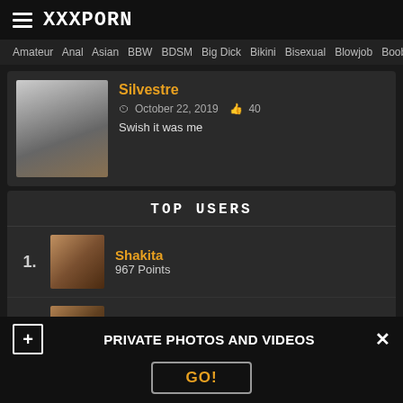XXXPORN
Amateur  Anal  Asian  BBW  BDSM  Big Dick  Bikini  Bisexual  Blowjob  Boobs
[Figure (photo): Thumbnail image for post by Silvestre]
Silvestre
October 22, 2019  40
Swish it was me
TOP USERS
[Figure (photo): User avatar for Shakita, rank 1]
1. Shakita
967 Points
[Figure (photo): User avatar for Pablo, rank 2]
2. Pablo
879 Points
[Figure (photo): User avatar for Christina, rank 3 (partially visible)]
Christina
PRIVATE PHOTOS AND VIDEOS
GO!